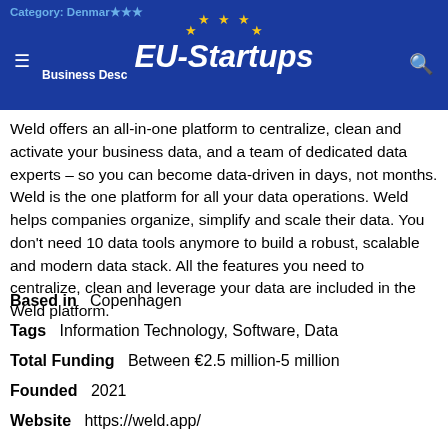EU-Startups
Weld offers an all-in-one platform to centralize, clean and activate your business data, and a team of dedicated data experts – so you can become data-driven in days, not months. Weld is the one platform for all your data operations. Weld helps companies organize, simplify and scale their data. You don't need 10 data tools anymore to build a robust, scalable and modern data stack. All the features you need to centralize, clean and leverage your data are included in the Weld platform.
Based in   Copenhagen
Tags   Information Technology, Software, Data
Total Funding   Between €2.5 million-5 million
Founded   2021
Website   https://weld.app/